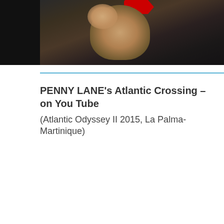[Figure (photo): Photo of people on a sailboat deck at sea, with a red YouTube logo partially visible at the top. A smiling person is visible in the center foreground on the boat deck. Dark shadowed areas on left side.]
PENNY LANE's Atlantic Crossing – on You Tube
(Atlantic Odyssey II 2015, La Palma-Martinique)